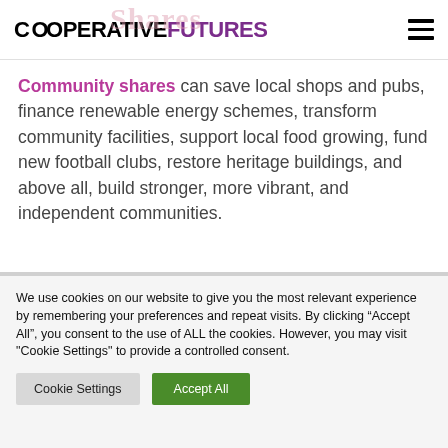COOPERATIVE FUTURES
Community shares can save local shops and pubs, finance renewable energy schemes, transform community facilities, support local food growing, fund new football clubs, restore heritage buildings, and above all, build stronger, more vibrant, and independent communities.
We use cookies on our website to give you the most relevant experience by remembering your preferences and repeat visits. By clicking “Accept All”, you consent to the use of ALL the cookies. However, you may visit "Cookie Settings" to provide a controlled consent.